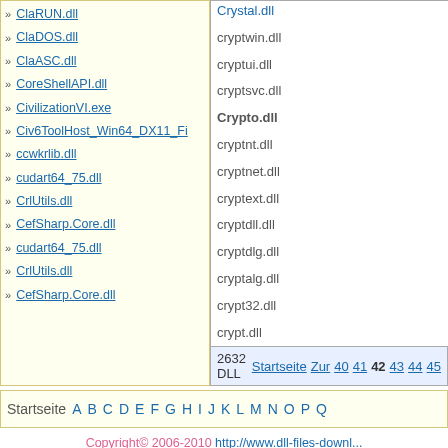ClaRUN.dll
ClaDOS.dll
ClaASC.dll
CoreShellAPI.dll
CivilizationVI.exe
Civ6ToolHost_Win64_DX11_Fi
ccwkrlib.dll
cudart64_75.dll
CrlUtils.dll
CefSharp.Core.dll
cudart64_75.dll
CrlUtils.dll
CefSharp.Core.dll
Crystal.dll
cryptwin.dll
cryptui.dll
cryptsvc.dll
Crypto.dll
cryptnt.dll
cryptnet.dll
cryptext.dll
cryptdll.dll
cryptdlg.dll
cryptalg.dll
crypt32.dll
crypt.dll
2632 DLL   Startseite Zur 40 41 42 43 44 45
Startseite A B C D E F G H I J K L M N O P Q
Copyright© 2006-2010 http://www.dll-files-downl...